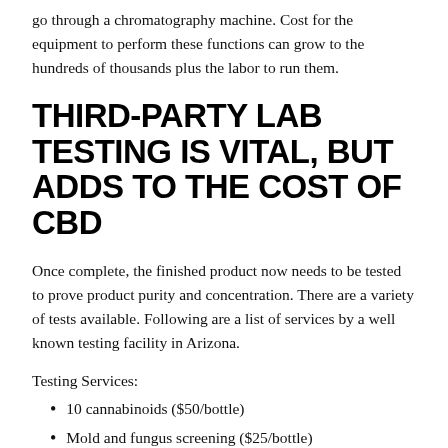go through a chromatography machine. Cost for the equipment to perform these functions can grow to the hundreds of thousands plus the labor to run them.
THIRD-PARTY LAB TESTING IS VITAL, BUT ADDS TO THE COST OF CBD
Once complete, the finished product now needs to be tested to prove product purity and concentration. There are a variety of tests available. Following are a list of services by a well known testing facility in Arizona.
Testing Services:
10 cannabinoids ($50/bottle)
Mold and fungus screening ($25/bottle)